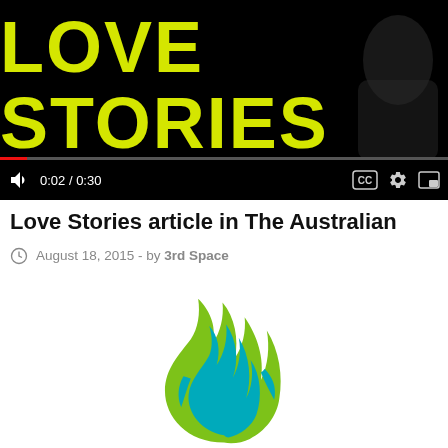[Figure (screenshot): Video player screenshot showing 'LOVE STORIES' text in yellow on black background with video controls showing 0:02 / 0:30]
Love Stories article in The Australian
August 18, 2015 - by 3rd Space
[Figure (logo): Flame logo with green and teal colors]